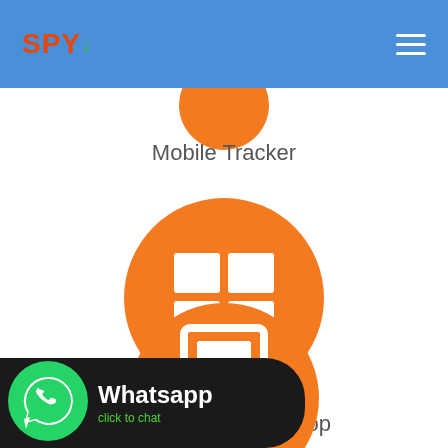SPY – navigation header
Mobile Tracker
[Figure (illustration): Orange circle with Windows logo icon (white four-pane window)]
Windows OS Desktop
[Figure (illustration): WhatsApp click-to-chat banner with green WhatsApp icon and text 'Whatsapp click to chat' on dark background]
[Figure (illustration): Partially visible orange circle at bottom with a white tablet/monitor icon, cut off at page edge]